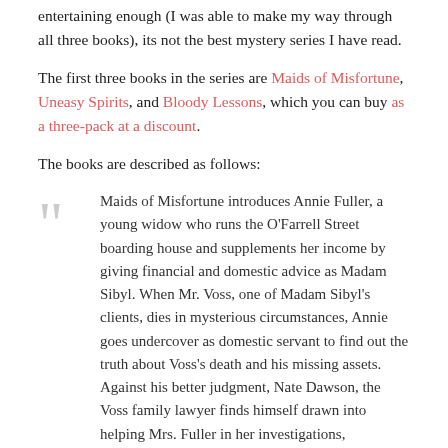entertaining enough (I was able to make my way through all three books), its not the best mystery series I have read.
The first three books in the series are Maids of Misfortune, Uneasy Spirits, and Bloody Lessons, which you can buy as a three-pack at a discount.
The books are described as follows:
Maids of Misfortune introduces Annie Fuller, a young widow who runs the O'Farrell Street boarding house and supplements her income by giving financial and domestic advice as Madam Sibyl. When Mr. Voss, one of Madam Sibyl's clients, dies in mysterious circumstances, Annie goes undercover as domestic servant to find out the truth about Voss's death and his missing assets. Against his better judgment, Nate Dawson, the Voss family lawyer finds himself drawn into helping Mrs. Fuller in her investigations, alternatively fascinated and